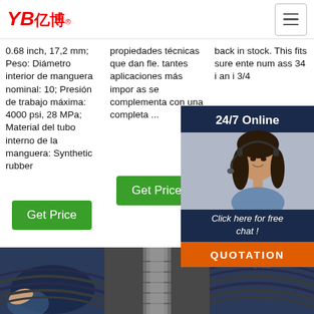YB亿博® [logo] | hamburger menu
0.68 inch, 17,2 mm; Peso: Diámetro interior de manguera nominal: 10; Presión de trabajo máxima: 4000 psi, 28 MPa; Material del tubo interno de la manguera: Synthetic rubber
propiedades técnicas que dan fle. tantes aplicaciones más impor as se complementa con una completa ...
back in stock. This fits sure ente num ass 34 i an i 3/4
[Figure (photo): Woman with headset, chat support popup: '24/7 Online', 'Click here for free chat!', 'QUOTATION' button in orange]
Get Price
Get Price
G[et Price - partial]
[Figure (infographic): TOP arrow/dots icon in orange with 'TOP' text]
[Figure (photo): Bottom row: three product photos of hoses/cables]
TOP